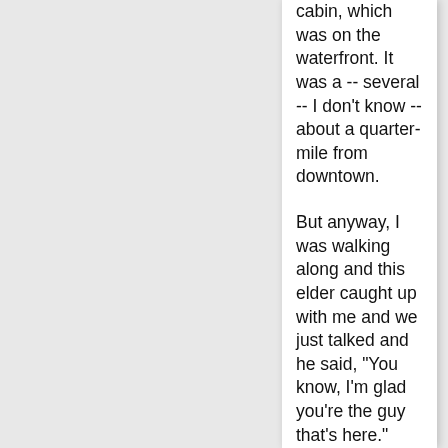cabin, which was on the waterfront. It was a -- several -- I don't know -- about a quarter-mile from downtown.
But anyway, I was walking along and this elder caught up with me and we just talked and he said, "You know, I'm glad you're the guy that's here." That's what he kept saying.